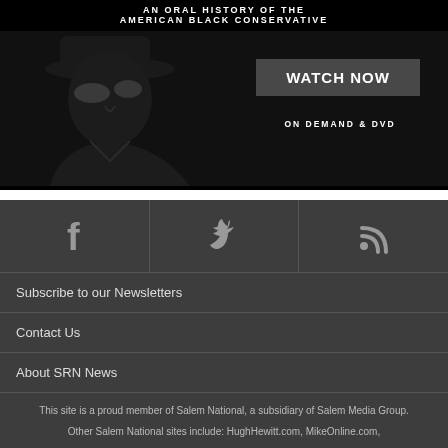[Figure (photo): Advertisement showing a silhouette of a man wearing a hat and sunglasses against a dark background. Text reads: AN ORAL HISTORY OF THE AMERICAN BLACK CONSERVATIVE. A grey button reads: WATCH NOW. Below: ON DEMAND & DVD.]
[Figure (infographic): Footer social media bar with Facebook (f), Twitter (bird), and RSS feed icons.]
Subscribe to our Newsletters
Contact Us
About SRN News
This site is a proud member of Salem National, a subsidiary of Salem Media Group.
Other Salem National sites include: HughHewitt.com, MikeOnline.com,